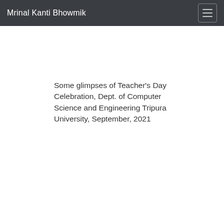Mrinal Kanti Bhowmik
Some glimpses of Teacher's Day Celebration, Dept. of Computer Science and Engineering Tripura University, September, 2021